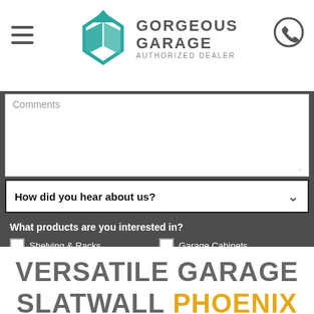Gorgeous Garage Authorized Dealer
Comments
How did you hear about us?
What products are you interested in? Shelving & Racks, Garage Cabinets, Overhead Racks, Garage Flooring
LET'S GET STARTED
VERSATILE GARAGE SLATWALL PHOENIX HOMEOWNERS TRUST